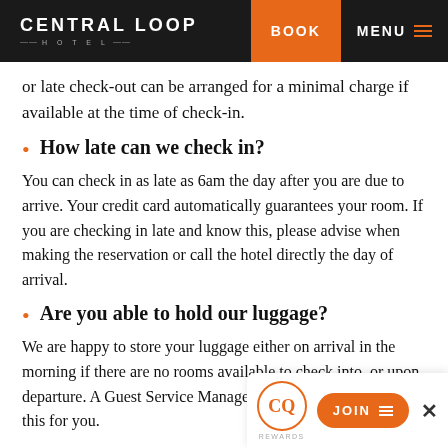CENTRAL LOOP HOTEL | BOOK | MENU
or late check-out can be arranged for a minimal charge if available at the time of check-in.
How late can we check in?
You can check in as late as 6am the day after you are due to arrive. Your credit card automatically guarantees your room. If you are checking in late and know this, please advise when making the reservation or call the hotel directly the day of arrival.
Are you able to hold our luggage?
We are happy to store your luggage either on arrival in the morning if there are no rooms available to check into, or upon departure. A Guest Service Ma[nager at the Front] Desk can do this for you.